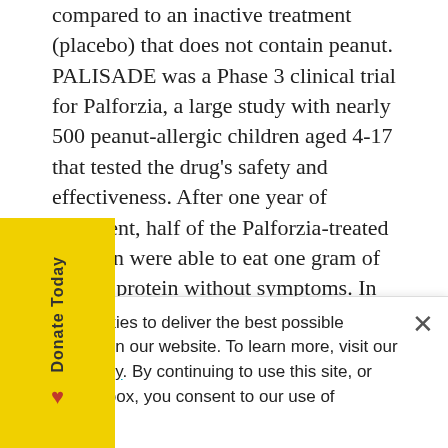compared to an inactive treatment (placebo) that does not contain peanut. PALISADE was a Phase 3 clinical trial for Palforzia, a large study with nearly 500 peanut-allergic children aged 4-17 that tested the drug's safety and effectiveness. After one year of treatment, half of the Palforzia-treated children were able to eat one gram of peanut protein without symptoms. In contrast, only 2 percent of children who received a peanut-free placebo could tolerate this dose. Two-thirds of the children who started treatment with Palforzia – and 85 percent of those who completed the active treatment – could tolerate eating at least 600 mg of peanut protein (approximately two peanut kernels), a dose that
We use cookies to deliver the best possible experience on our website. To learn more, visit our Privacy Policy. By continuing to use this site, or closing this box, you consent to our use of cookies.